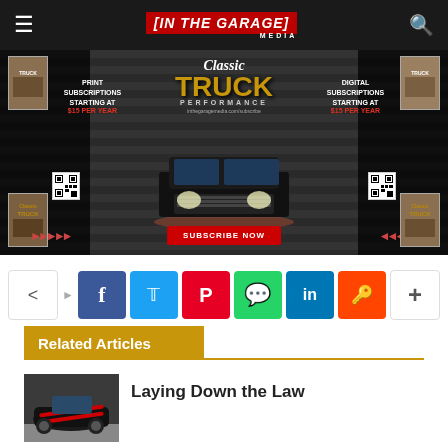[IN THE GARAGE] MEDIA
[Figure (photo): Classic Truck Performance magazine advertisement with subscribe now button, print and digital subscriptions starting at $15 per year]
[Figure (infographic): Social share buttons row: share, Facebook, Twitter, Pinterest, WhatsApp, LinkedIn, Reddit, more]
Related Articles
[Figure (photo): Black classic car with red racing stripes viewed from front-left angle]
Laying Down the Law